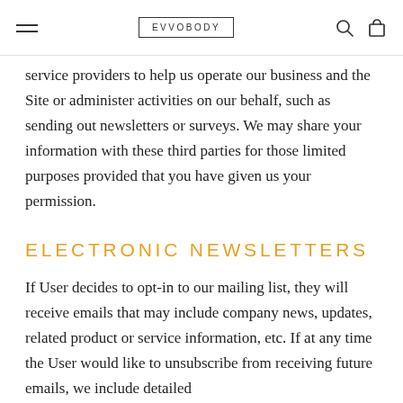EVVOBODY
service providers to help us operate our business and the Site or administer activities on our behalf, such as sending out newsletters or surveys. We may share your information with these third parties for those limited purposes provided that you have given us your permission.
ELECTRONIC NEWSLETTERS
If User decides to opt-in to our mailing list, they will receive emails that may include company news, updates, related product or service information, etc. If at any time the User would like to unsubscribe from receiving future emails, we include detailed